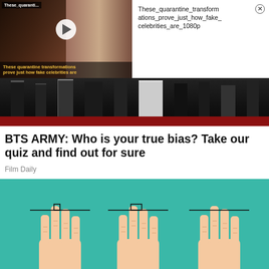[Figure (screenshot): Video thumbnail showing two women with text overlay 'These quarantine transformations prove just how fake celebrities are', with a play button in the center]
These_quarantine_transformations_prove_just_how_fake_celebrities_are_1080p
[Figure (photo): Photo of people from waist down standing on red carpet, wearing formal black and white attire]
BTS ARMY: Who is your true bias? Take our quiz and find out for sure
Film Daily
[Figure (illustration): Illustration of three pairs of hands on teal background showing finger length comparison with measurement lines]